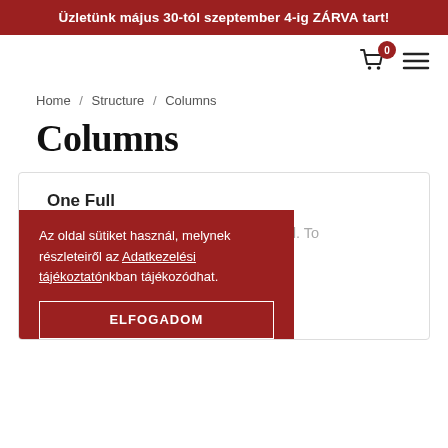Üzletünk május 30-tól szeptember 4-ig ZÁRVA tart!
Home / Structure / Columns
Columns
One Full
Allow miles wound place the leave had. To ...d limited. Ye ...on alteration ...p as seen sent ...himself ...he stuff after
Az oldal sütiket használ, melynek részleteiről az Adatkezelési tájékoztatónkban tájékozódhat.
ELFOGADOM